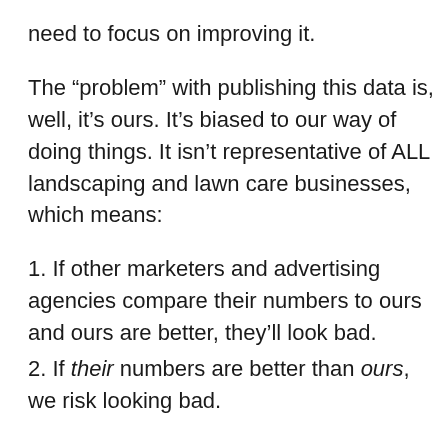need to focus on improving it.
The “problem” with publishing this data is, well, it’s ours. It’s biased to our way of doing things. It isn’t representative of ALL landscaping and lawn care businesses, which means:
1. If other marketers and advertising agencies compare their numbers to ours and ours are better, they’ll look bad.
2. If their numbers are better than ours, we risk looking bad.
The reality is, if our data risks making other marketers look bad, they’ll just intentionally neglect to share this information and use for keywords and